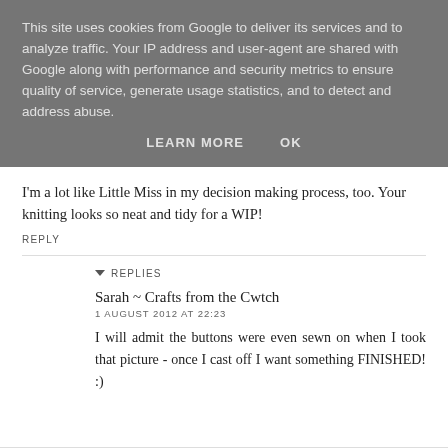This site uses cookies from Google to deliver its services and to analyze traffic. Your IP address and user-agent are shared with Google along with performance and security metrics to ensure quality of service, generate usage statistics, and to detect and address abuse.
LEARN MORE   OK
I'm a lot like Little Miss in my decision making process, too. Your knitting looks so neat and tidy for a WIP!
REPLY
▾ REPLIES
Sarah ~ Crafts from the Cwtch
1 AUGUST 2012 AT 22:23
I will admit the buttons were even sewn on when I took that picture - once I cast off I want something FINISHED! :)